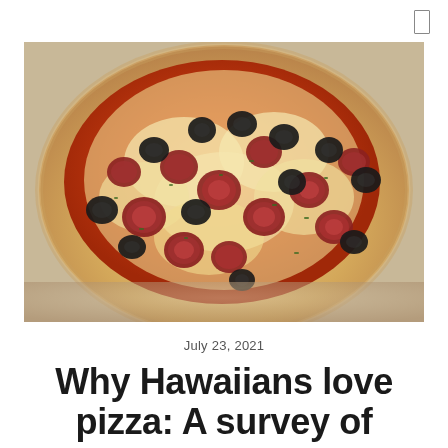[Figure (photo): Close-up photo of a pizza with pepperoni and black olives on a tomato sauce base with melted cheese, garnished with herbs, on a white/tan crust]
July 23, 2021
Why Hawaiians love pizza: A survey of